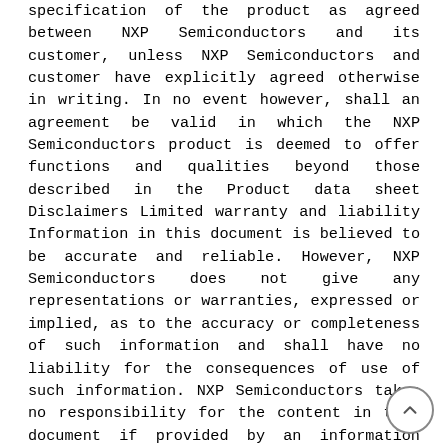specification of the product as agreed between NXP Semiconductors and its customer, unless NXP Semiconductors and customer have explicitly agreed otherwise in writing. In no event however, shall an agreement be valid in which the NXP Semiconductors product is deemed to offer functions and qualities beyond those described in the Product data sheet Disclaimers Limited warranty and liability Information in this document is believed to be accurate and reliable. However, NXP Semiconductors does not give any representations or warranties, expressed or implied, as to the accuracy or completeness of such information and shall have no liability for the consequences of use of such information. NXP Semiconductors takes no responsibility for the content in this document if provided by an information source outside of NXP Semiconductors. In no event shall NXP Semiconductors be liable for any indirect, incidental, punitive, special or consequential damages (including - without limitation - lost profits, lost savings, business interruption, costs related to the removal or replacement of any products or rework charges) whether or not such damages are based on tort (including negligence),